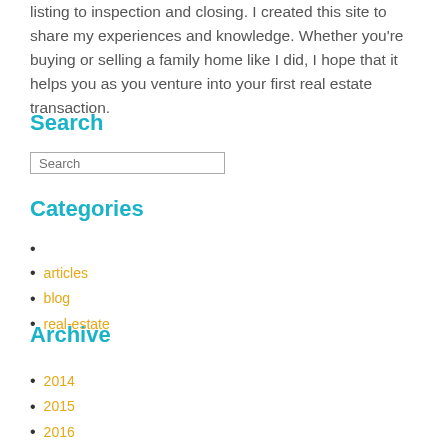listing to inspection and closing. I created this site to share my experiences and knowledge. Whether you're buying or selling a family home like I did, I hope that it helps you as you venture into your first real estate transaction.
Search
Search
Categories
articles
blog
real-estate
Archive
2014
2015
2016
2017